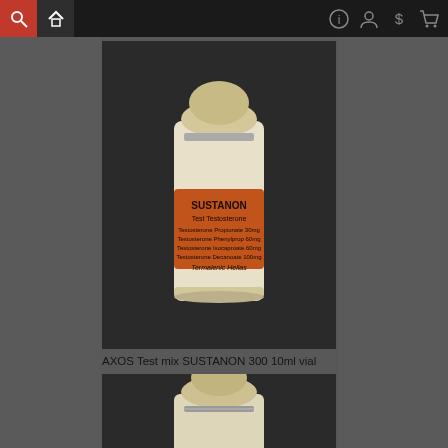Navigation bar with search, home, info, user, dollar, and cart icons
[Figure (photo): A dark photograph of a white pharmaceutical vial labeled SUSTANON 300 with an orange label, small rubber stopper top, on a dark background]
AXOS Test mix SUSTANON 300 10ml vial
[Figure (photo): A dark photograph showing the top portion of a similar pharmaceutical vial, partially cropped]